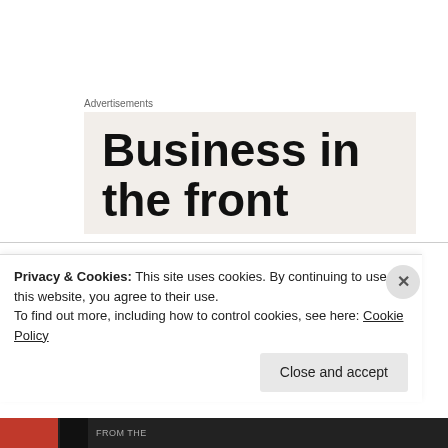Advertisements
[Figure (other): Advertisement banner with bold text 'Business in the front']
Oliver K. Manuel on March 7, 2012 at 10:40 am
The United Nations was formed on 24 Oct 1945 out of fear of the "nuclear fire" that vaporization
Privacy & Cookies: This site uses cookies. By continuing to use this website, you agree to their use.
To find out more, including how to control cookies, see here: Cookie Policy
Close and accept